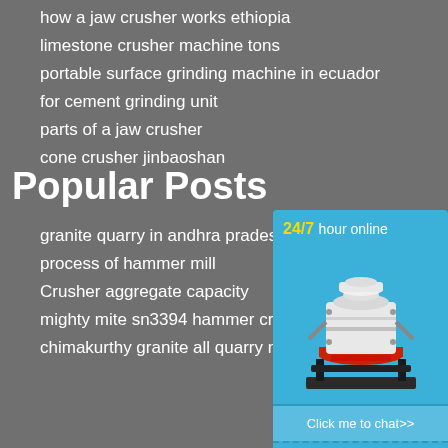how a jaw crusher works ethiopia
limestone crusher machine tons
portable surface grinding machine in ecuador
for cement grinding unit
parts of a jaw crusher
cone crusher jinbaoshan
Popular Posts
granite quarry in andhra pradesh
process of hammer mill
Crusher aggregate capacity
mighty mite sn3394 hammer crusher
chimakurthy granite all quarry names
[Figure (illustration): Industrial cone crusher machine in white and red color with black base, displayed inside a blue sidebar widget]
24/7 hour online
Click me to chat>>
Enquiry
limingjlmofen